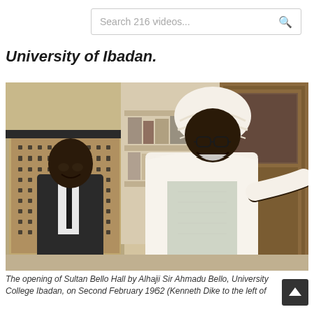Search 216 videos...
University of Ibadan.
[Figure (photo): Two men standing together in a building interior. On the left, a shorter man in a dark suit with a tie. On the right, a taller man wearing traditional Nigerian attire including a white turban and flowing white and green embroidered robes, smiling broadly.]
The opening of Sultan Bello Hall by Alhaji Sir Ahmadu Bello, University College Ibadan, on Second February 1962 (Kenneth Dike to the left of